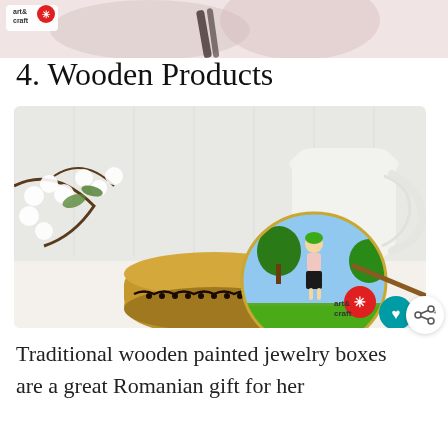[Figure (photo): Top portion of a previous section image showing craft items with a pink background and an art&craft logo badge in the top-left corner]
4. Wooden Products
[Figure (photo): A traditional Romanian wooden jewelry box with a hand-painted lid depicting a woman in traditional costume standing by a tree, surrounded by spring blossoms and a white ceramic pitcher in the background. Art & craft logo and heart/share buttons visible.]
Traditional wooden painted jewelry boxes are a great Romanian gift for her